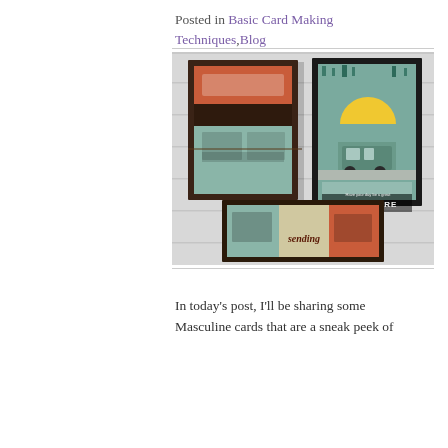Posted in Basic Card Making Techniques, Blog
[Figure (photo): Three handmade masculine greeting cards displayed on a white wooden surface. Left card has a dark brown background with retro camper/van design elements. Right card features a teal outdoor adventure scene with a yellow sun and a van, with text 'Have your day be a great ADVENTURE'. Front center card is horizontal with teal and orange vintage camper/van panels and cursive script text.]
In today's post, I'll be sharing some Masculine cards that are a sneak peek of